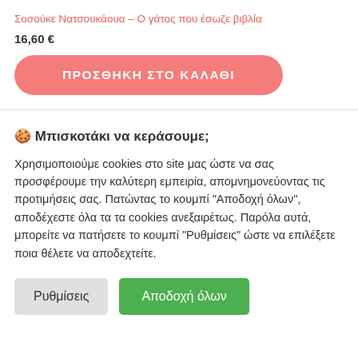Σοσούκε Νατσουκάουα – Ο γάτος που έσωζε βιβλία
16,60 €
ΠΡΟΣΘΗΚΗ ΣΤΟ ΚΑΛΑΘΙ
🍪 Μπισκοτάκι να κεράσουμε;
Χρησιμοποιούμε cookies στο site μας ώστε να σας προσφέρουμε την καλύτερη εμπειρία, απομνημονεύοντας τις προτιμήσεις σας. Πατώντας το κουμπί "Αποδοχή όλων", αποδέχεστε όλα τα τα cookies ανεξαιρέτως. Παρόλα αυτά, μπορείτε να πατήσετε το κουμπί "Ρυθμίσεις" ώστε να επιλέξετε ποια θέλετε να αποδεχτείτε.
Ρυθμίσεις
Αποδοχή όλων